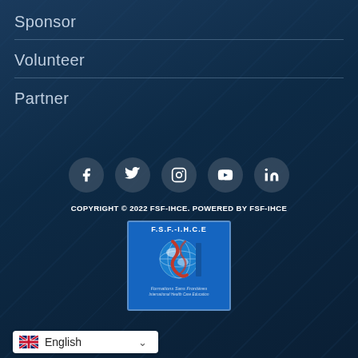Sponsor
Volunteer
Partner
[Figure (infographic): Social media icons row: Facebook, Twitter, Instagram, YouTube, LinkedIn — each in a dark circular button]
COPYRIGHT © 2022 FSF-IHCE. POWERED BY FSF-IHCE
[Figure (logo): FSF-IHCE logo: blue square with globe and red snake/caduceus, text 'F.S.F.-I.H.C.E', 'Formations Sans Frontières', 'International Health Care Education']
English